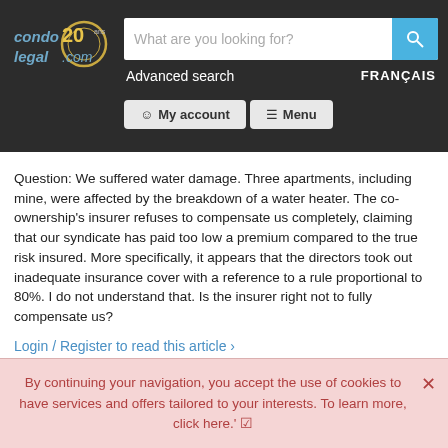condolegal.com — Advanced search | FRANÇAIS | My account | Menu
Question: We suffered water damage. Three apartments, including mine, were affected by the breakdown of a water heater. The co-ownership's insurer refuses to compensate us completely, claiming that our syndicate has paid too low a premium compared to the true risk insured. More specifically, it appears that the directors took out inadequate insurance cover with a reference to a rule proportional to 80%. I do not understand that. Is the insurer right not to fully compensate us?
Login / Register to read this article ›
By continuing your navigation, you accept the use of cookies to have services and offers tailored to your interests. To learn more, click here.' ☑